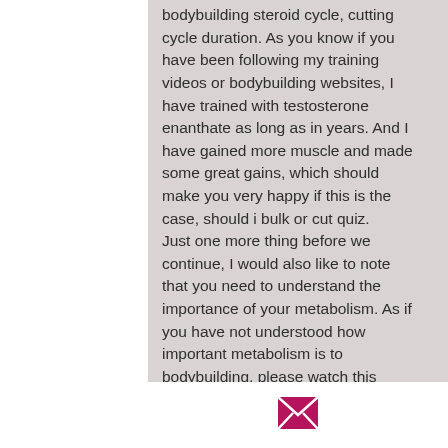bodybuilding steroid cycle, cutting cycle duration. As you know if you have been following my training videos or bodybuilding websites, I have trained with testosterone enanthate as long as in years. And I have gained more muscle and made some great gains, which should make you very happy if this is the case, should i bulk or cut quiz.
Just one more thing before we continue, I would also like to note that you need to understand the importance of your metabolism. As if you have not understood how important metabolism is to bodybuilding, please watch this short video on mitochondria for more details.
Now that you have the knowledge, I would like to explain the importance of steroids,
[Figure (other): Pink/magenta envelope icon in the footer area]